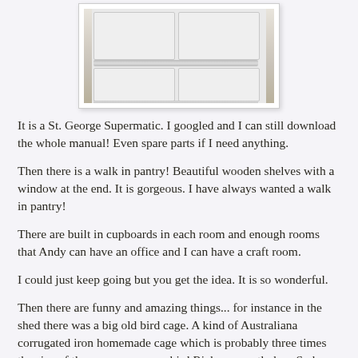[Figure (photo): Photo of a white St. George Supermatic refrigerator/appliance with four doors/compartments and a chrome handle bar, set on a wooden floor against a beige wall.]
It is a St. George Supermatic.  I googled and I can still download the whole manual!  Even spare parts if I need anything.
Then there is a walk in pantry!  Beautiful wooden shelves with a window at the end.  It is gorgeous. I have always wanted a walk in pantry!
There are built in cupboards in each room and enough rooms that Andy can have an office and I can have a craft room.
I could just keep going but you get the idea.  It is so wonderful.
Then there are funny and amazing things... for instance in the shed there was a big old bird cage.  A kind of Australiana corrugated iron homemade cage which is probably three times the size of the cage our rescue bird Ricky currently has.  So he too has a